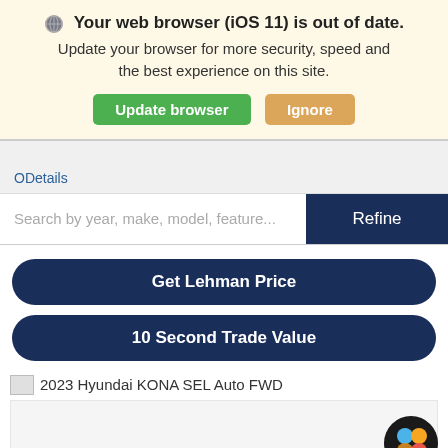🌐 Your web browser (iOS 11) is out of date. Update your browser for more security, speed and the best experience on this site.
Update browser | Ignore
ODetails
Search by year, make, model, feature...
Refine
Get Lehman Price
10 Second Trade Value
2023 Hyundai KONA SEL Auto FWD
[Figure (illustration): Vehicle image placeholder area for 2023 Hyundai KONA SEL Auto FWD]
[Figure (logo): Colorful dot icon (app/browser icon) in bottom right corner]